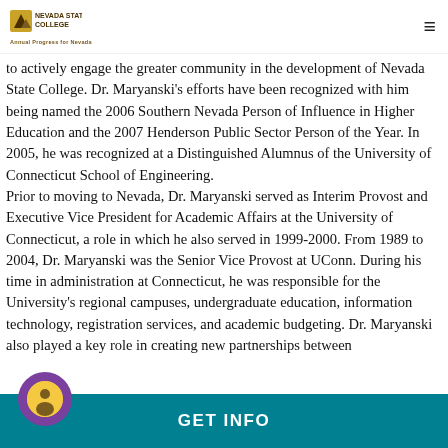Nevada State College — Annual Progress for Nevada
to actively engage the greater community in the development of Nevada State College. Dr. Maryanski's efforts have been recognized with him being named the 2006 Southern Nevada Person of Influence in Higher Education and the 2007 Henderson Public Sector Person of the Year. In 2005, he was recognized at a Distinguished Alumnus of the University of Connecticut School of Engineering. Prior to moving to Nevada, Dr. Maryanski served as Interim Provost and Executive Vice President for Academic Affairs at the University of Connecticut, a role in which he also served in 1999-2000. From 1989 to 2004, Dr. Maryanski was the Senior Vice Provost at UConn. During his time in administration at Connecticut, he was responsible for the University's regional campuses, undergraduate education, information technology, registration services, and academic budgeting. Dr. Maryanski also played a key role in creating new partnerships between
GET INFO